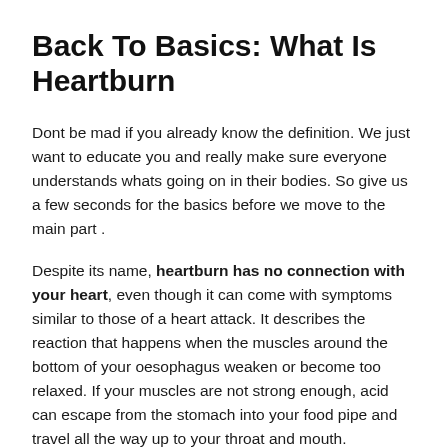Back To Basics: What Is Heartburn
Dont be mad if you already know the definition. We just want to educate you and really make sure everyone understands whats going on in their bodies. So give us a few seconds for the basics before we move to the main part .
Despite its name, heartburn has no connection with your heart, even though it can come with symptoms similar to those of a heart attack. It describes the reaction that happens when the muscles around the bottom of your oesophagus weaken or become too relaxed. If your muscles are not strong enough, acid can escape from the stomach into your food pipe and travel all the way up to your throat and mouth.